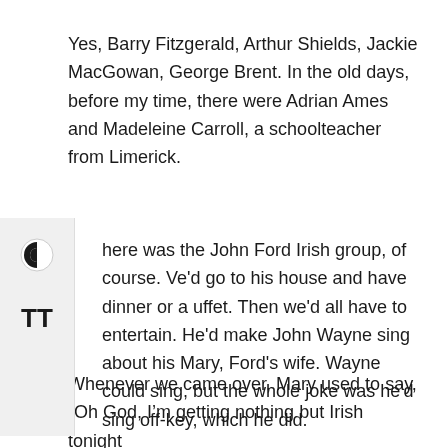Yes, Barry Fitzgerald, Arthur Shields, Jackie MacGowan, George Brent. In the old days, before my time, there were Adrian Ames and Madeleine Carroll, a schoolteacher from Limerick.
here was the John Ford Irish group, of course. Ve'd go to his house and have dinner or a uffet. Then we'd all have to entertain. He'd make John Wayne sing about his Mary, Ford’s wife. Wayne could sing, but the whole joke was he'd sing off-key, which he did.
Whenever we came over, Mary used to say, “Oh God, I’m getting nothing but Irish tonight